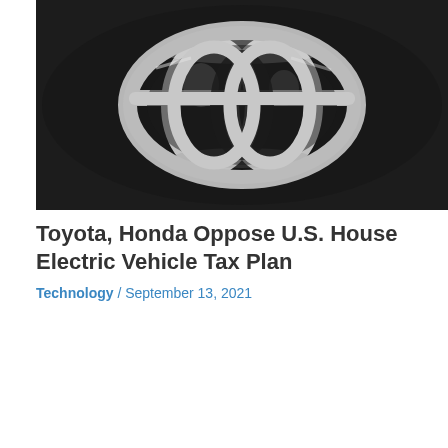[Figure (photo): Close-up photo of a silver Toyota logo/emblem against a dark background, showing the overlapping oval shapes of the Toyota badge]
Toyota, Honda Oppose U.S. House Electric Vehicle Tax Plan
Technology / September 13, 2021